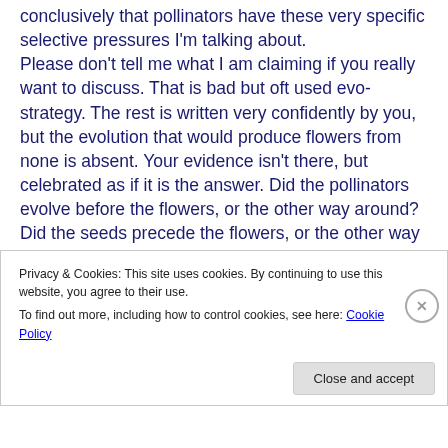conclusively that pollinators have these very specific selective pressures I'm talking about. Please don't tell me what I am claiming if you really want to discuss. That is bad but oft used evo-strategy. The rest is written very confidently by you, but the evolution that would produce flowers from none is absent. Your evidence isn't there, but celebrated as if it is the answer. Did the pollinators evolve before the flowers, or the other way around? Did the seeds precede the flowers, or the other way around? I'm sure you will have a very confident unobserved explanation.
Privacy & Cookies: This site uses cookies. By continuing to use this website, you agree to their use.
To find out more, including how to control cookies, see here: Cookie Policy